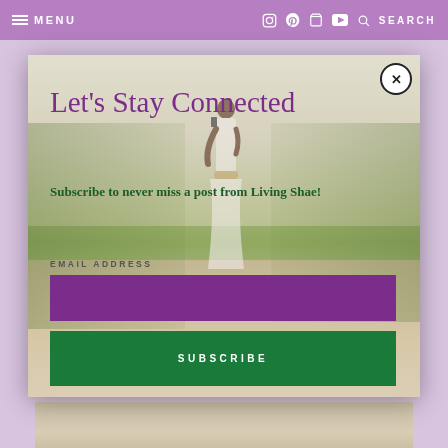MENU  SEARCH
[Figure (photo): Modal popup over a website with purple navigation bar. Inside the modal: a beach scene photo with a woman in a white dress standing among tall sea oats/grass dunes. Text overlay reads 'Let's Stay Connected' and 'Subscribe to never miss a post from Living Shae!' with an email field and subscribe button.]
Let's Stay Connected
Subscribe to never miss a post from Living Shae!
EMAIL ADDRESS
SUBSCRIBE